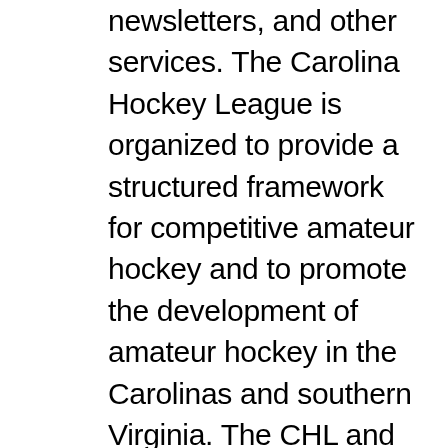newsletters, and other services. The Carolina Hockey League is organized to provide a structured framework for competitive amateur hockey and to promote the development of amateur hockey in the Carolinas and southern Virginia. The CHL and its three member organizations — the WHL, Ontario Hockey League and Quebec Major Junior Hockey League — are listed as defendants, as are all 60 teams that play under the CHL ... Find local teams, determine geographic rivalries, or see where an expansion city might fit in. Your source for up-to-the-minute scores, highlights, stats, news and exclusive offers for your favourite teams in the WHL, OHL and QMJHL, as well as The Memorial Cup presented by Kia, the CIBC Canada/Russia Series and the CHL Top Prospects Game. Thank you for your interest in our network of websites, newsletters, and other services. The Canadian Hockey League (CHL) cares about your privacy. The CHL's leagues – OHL, QMJHL and WHL – still aren't sure exactly how many games their teams